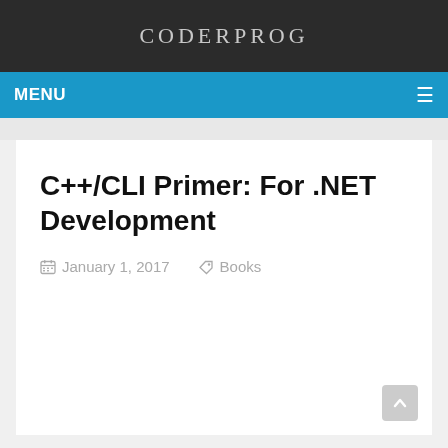CODERPROG
MENU
C++/CLI Primer: For .NET Development
January 1, 2017  Books